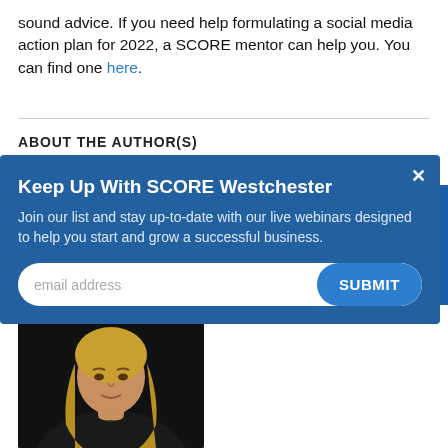sound advice. If you need help formulating a social media action plan for 2022, a SCORE mentor can help you. You can find one here.
ABOUT THE AUTHOR(S)
[Figure (screenshot): Modal popup with dark blue background titled 'Keep Up With SCORE Westchester'. Contains text 'Join our list and stay up-to-date with our live webinars designed to help you start and grow a successful business.' with an email input field and SUBMIT button. An X close button is in the top right.]
[Figure (photo): Headshot of a woman with blonde hair wearing a dark jacket, photographed against a dark background.]